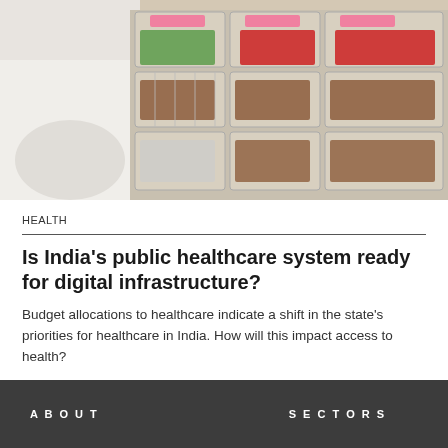[Figure (photo): Overhead view of pharmacy medicine trays with various pills and tablets sorted in plastic containers, person in white coat visible]
HEALTH
Is India’s public healthcare system ready for digital infrastructure?
Budget allocations to healthcare indicate a shift in the state’s priorities for healthcare in India. How will this impact access to health?
by URVASHI SIROHI | 5 min read
ABOUT   SECTORS